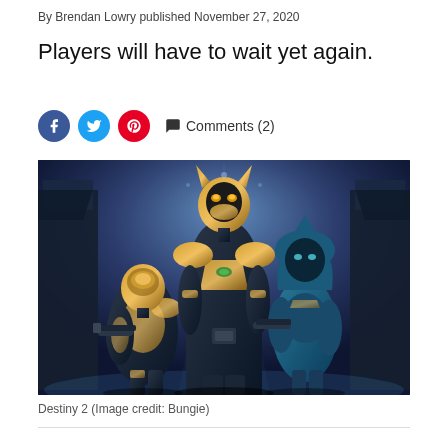By Brendan Lowry published November 27, 2020
Players will have to wait yet again.
[Figure (infographic): Social media sharing icons: Facebook (blue circle), Twitter (blue circle), Pinterest (red circle), and a comment bubble icon with 'Comments (2)' text]
[Figure (photo): Three armored characters from Destiny 2 video game standing together in a dramatic pose, wearing ornate gold and dark metallic armor with Egyptian-inspired designs, set against a blue-lit futuristic arena background]
Destiny 2 (Image credit: Bungie)